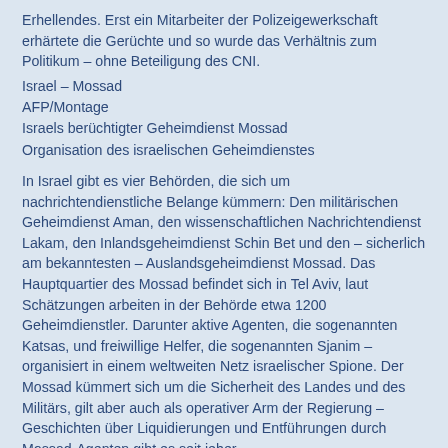Erhellendes. Erst ein Mitarbeiter der Polizeigewerkschaft erhärtete die Gerüchte und so wurde das Verhältnis zum Politikum – ohne Beteiligung des CNI.
Israel – Mossad
AFP/Montage
Israels berüchtigter Geheimdienst Mossad
Organisation des israelischen Geheimdienstes
In Israel gibt es vier Behörden, die sich um nachrichtendienstliche Belange kümmern: Den militärischen Geheimdienst Aman, den wissenschaftlichen Nachrichtendienst Lakam, den Inlandsgeheimdienst Schin Bet und den – sicherlich am bekanntesten – Auslandsgeheimdienst Mossad. Das Hauptquartier des Mossad befindet sich in Tel Aviv, laut Schätzungen arbeiten in der Behörde etwa 1200 Geheimdienstler. Darunter aktive Agenten, die sogenannten Katsas, und freiwillige Helfer, die sogenannten Sjanim – organisiert in einem weltweiten Netz israelischer Spione. Der Mossad kümmert sich um die Sicherheit des Landes und des Militärs, gilt aber auch als operativer Arm der Regierung – Geschichten über Liquidierungen und Entführungen durch Mossad-Agenten gibt es seit jeher.
Geschichte des Mossad